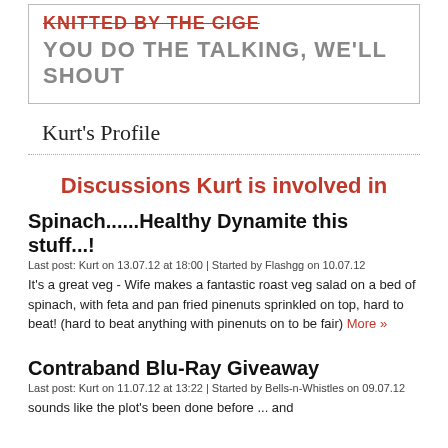YOU DO THE TALKING, WE'LL SHOUT
Kurt's Profile
Discussions Kurt is involved in
Spinach......Healthy Dynamite this stuff...!
Last post: Kurt on 13.07.12 at 18:00 | Started by Flashgg on 10.07.12
It's a great veg - Wife makes a fantastic roast veg salad on a bed of spinach, with feta and pan fried pinenuts sprinkled on top, hard to beat! (hard to beat anything with pinenuts on to be fair) More »
Contraband Blu-Ray Giveaway
Last post: Kurt on 11.07.12 at 13:22 | Started by Bells-n-Whistles on 09.07.12
sounds like the plot's been done before ... and